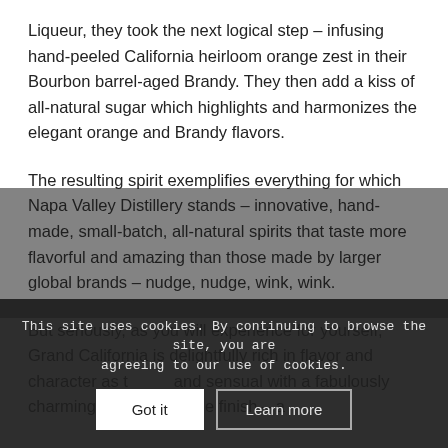Liqueur, they took the next logical step – infusing hand-peeled California heirloom orange zest in their Bourbon barrel-aged Brandy. They then add a kiss of all-natural sugar which highlights and harmonizes the elegant orange and Brandy flavors.
The resulting spirit exemplifies everything for which Napa Valley Distillery stands – innovative, hand-made, small-batch, all-natural spirits that taste more flavorful and amazing than those made by larger global brands – nudge, nudge, wink, wink.
But seriously, as you will experience for yourself, Grand California is delightfully rich in flavor and character as the... and sensual with a fabulously charming candied orange finish – a
This site uses cookies. By continuing to browse the site, you are agreeing to our use of cookies.